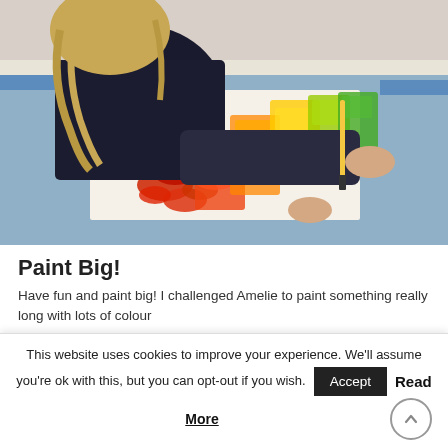[Figure (photo): A person (Amelie) with long blonde hair wearing a dark knit sweater, bending over a long canvas on a table covered with blue plastic sheeting, painting with a wide brush. The canvas shows a colorful gradient painting with reds, oranges, yellows, and greens arranged in a long horizontal strip.]
Paint Big!
Have fun and paint big! I challenged Amelie to paint something really long with lots of colour
This website uses cookies to improve your experience. We'll assume you're ok with this, but you can opt-out if you wish. Accept Read More